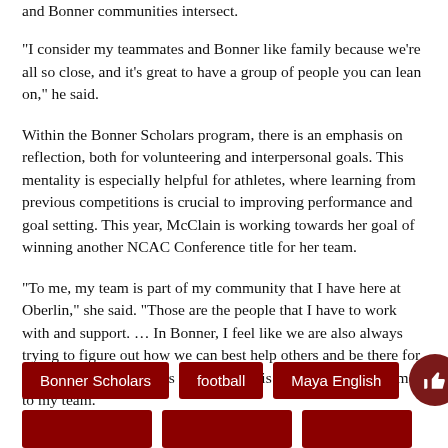and Bonner communities intersect.
“I consider my teammates and Bonner like family because we’re all so close, and it’s great to have a group of people you can lean on,” he said.
Within the Bonner Scholars program, there is an emphasis on reflection, both for volunteering and interpersonal goals. This mentality is especially helpful for athletes, where learning from previous competitions is crucial to improving performance and goal setting. This year, McClain is working towards her goal of winning another NCAC Conference title for her team.
“To me, my team is part of my community that I have here at Oberlin,” she said. “Those are the people that I have to work with and support. … In Bonner, I feel like we are also always trying to figure out how we can best help others and be there for others, and I also always ask myself this question when it comes to my team.”
Bonner Scholars
football
Maya English